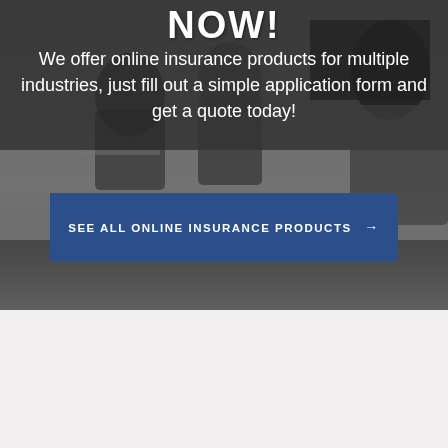[Figure (photo): Background photo of office meeting scene with people at a conference table, overlaid with dark semi-transparent gradient. Upper portion of the page.]
NOW!
We offer online insurance products for multiple industries, just fill out a simple application form and get a quote today!
SEE ALL ONLINE INSURANCE PRODUCTS →